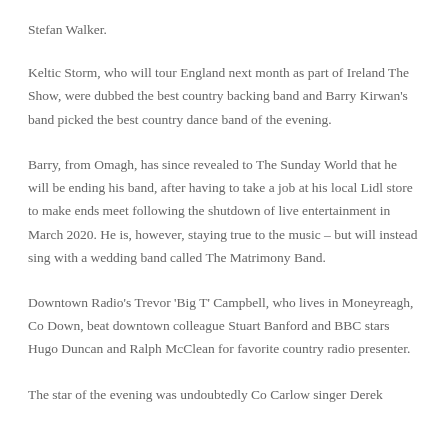Stefan Walker.
Keltic Storm, who will tour England next month as part of Ireland The Show, were dubbed the best country backing band and Barry Kirwan's band picked the best country dance band of the evening.
Barry, from Omagh, has since revealed to The Sunday World that he will be ending his band, after having to take a job at his local Lidl store to make ends meet following the shutdown of live entertainment in March 2020. He is, however, staying true to the music – but will instead sing with a wedding band called The Matrimony Band.
Downtown Radio's Trevor 'Big T' Campbell, who lives in Moneyreagh, Co Down, beat downtown colleague Stuart Banford and BBC stars Hugo Duncan and Ralph McClean for favorite country radio presenter.
The star of the evening was undoubtedly Co Carlow singer Derek